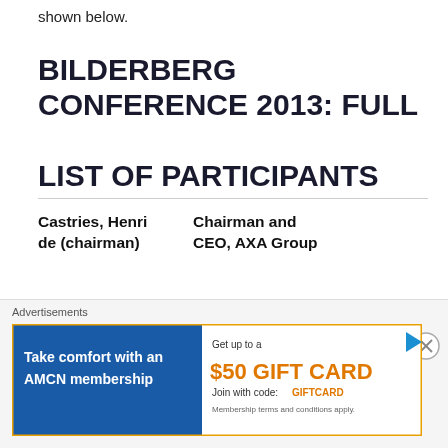shown below.
BILDERBERG CONFERENCE 2013: FULL LIST OF PARTICIPANTS
Castries, Henri de (chairman) — Chairman and CEO, AXA Group
Achleitner, Paul M. — Chairman of the Supervisory Board, Deutsche Bank AG
Ackermann, — Chairman of the